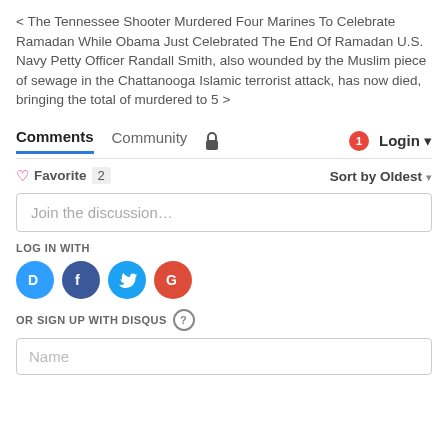< The Tennessee Shooter Murdered Four Marines To Celebrate Ramadan While Obama Just Celebrated The End Of Ramadan U.S. Navy Petty Officer Randall Smith, also wounded by the Muslim piece of sewage in the Chattanooga Islamic terrorist attack, has now died, bringing the total of murdered to 5 >
Comments   Community   Login
Favorite 2   Sort by Oldest
Join the discussion...
LOG IN WITH
[Figure (logo): Social login icons: Disqus (blue), Facebook (dark blue), Twitter (light blue), Google (red)]
OR SIGN UP WITH DISQUS ?
Name